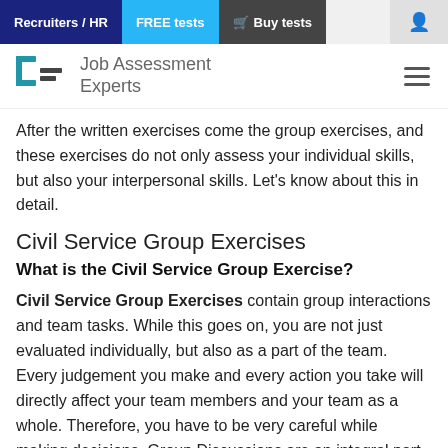Recruiters / HR | FREE tests | Buy tests | [user icon]
[Figure (logo): Job Assessment Experts logo with stylized G and F letters in blue and dark, and hamburger menu icon on right]
After the written exercises come the group exercises, and these exercises do not only assess your individual skills, but also your interpersonal skills. Let's know about this in detail.
Civil Service Group Exercises
What is the Civil Service Group Exercise?
Civil Service Group Exercises contain group interactions and team tasks. While this goes on, you are not just evaluated individually, but also as a part of the team. Every judgement you make and every action you take will directly affect your team members and your team as a whole. Therefore, you have to be very careful while making decisions. Group Discussions are an integral part of group